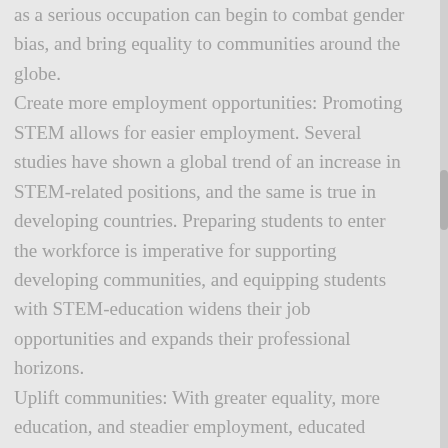as a serious occupation can begin to combat gender bias, and bring equality to communities around the globe.
Create more employment opportunities: Promoting STEM allows for easier employment. Several studies have shown a global trend of an increase in STEM-related positions, and the same is true in developing countries. Preparing students to enter the workforce is imperative for supporting developing communities, and equipping students with STEM-education widens their job opportunities and expands their professional horizons.
Uplift communities: With greater equality, more education, and steadier employment, educated people can uplift their communities one person at a time. They are more able to financially support their families, and can perpetuate a cycle of education, employment, equality, and ultimately build a healthier, safer tomorrow for all.